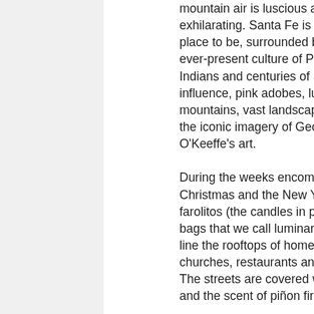mountain air is luscious and exhilarating. Santa Fe is a relaxing place to be, surrounded by the ever-present culture of Pueblo Indians and centuries of Spanish influence, pink adobes, lush mountains, vast landscapes, and the iconic imagery of Georgia O'Keeffe's art. During the weeks encompassing Christmas and the New Year, farolitos (the candles in paper bags that we call luminarias here) line the rooftops of homes, hotels, churches, restaurants and more. The streets are covered with snow and the scent of piñon fires...